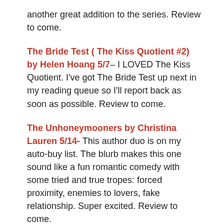another great addition to the series. Review to come.
The Bride Test ( The Kiss Quotient #2) by Helen Hoang 5/7– I LOVED The Kiss Quotient. I've got The Bride Test up next in my reading queue so I'll report back as soon as possible. Review to come.
The Unhoneymooners by Christina Lauren 5/14- This author duo is on my auto-buy list. The blurb makes this one sound like a fun romantic comedy with some tried and true tropes: forced proximity, enemies to lovers, fake relationship. Super excited. Review to come.
Red, White, & Royal Blue by Casey McQuiston 5/14– I've had my eye on this title since I saw the cutesy cover and read the blurb. The minute the ARC came available I hit the request button. A secret romance between